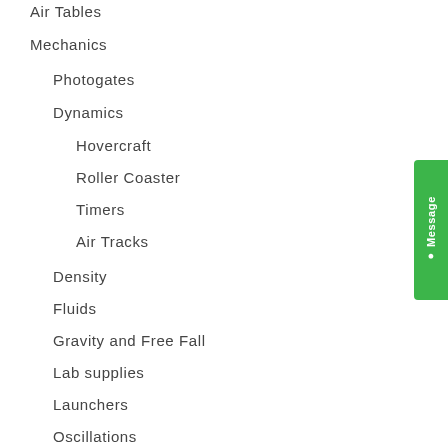Air Tables
Mechanics
Photogates
Dynamics
Hovercraft
Roller Coaster
Timers
Air Tracks
Density
Fluids
Gravity and Free Fall
Lab supplies
Launchers
Oscillations
Pulleys